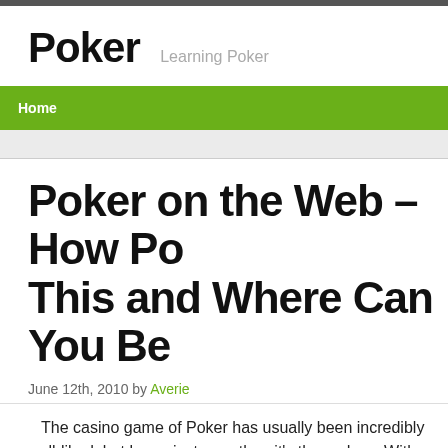Poker   Learning Poker
Home
Poker on the Web – How Po This and Where Can You Be
June 12th, 2010 by Averie
The casino game of Poker has usually been incredibly well-liked, but by mainstream than it's these days. With the introduction of additional gambl even 'super' betting houses, plus extensive coverage of big tournaments the popularity of the Poker table has in no way been stronger.
This has resulted in a large increase in the quantity of men and women a the web based Poker tables. This has to be the simplest way ever to ge